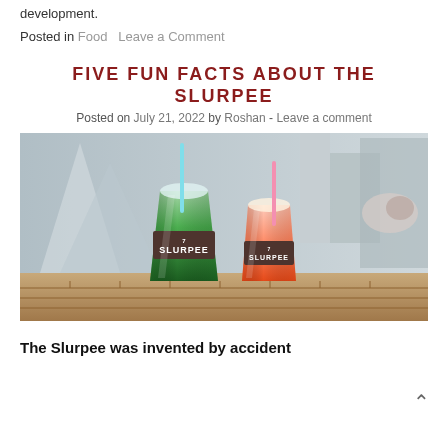development.
Posted in Food  Leave a Comment
FIVE FUN FACTS ABOUT THE SLURPEE
Posted on July 21, 2022 by Roshan - Leave a comment
[Figure (photo): Two 7-Eleven Slurpee cups on a brick surface — one green and one orange — with straws, against an urban background with architecture]
The Slurpee was invented by accident